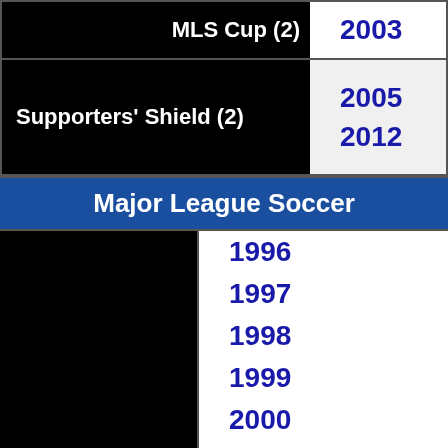| MLS Cup (2) | 2003 |
| Supporters' Shield (2) | 2005
2012 |
Major League Soccer
|  | 1996
1997
1998
1999
2000
2001
2002
2003
2004
2005
2008
... |